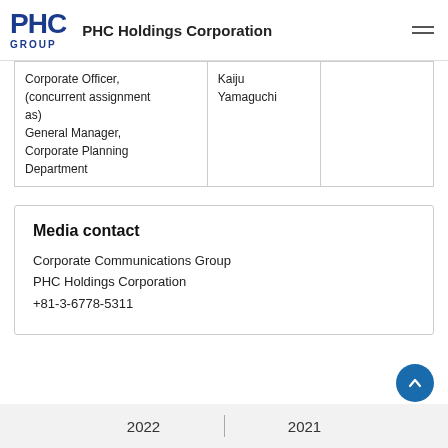PHC Holdings Corporation
|  |  |  |
| --- | --- | --- |
| Corporate Officer, (concurrent assignment as) General Manager, Corporate Planning Department | Kaiju Yamaguchi |  |
Media contact
Corporate Communications Group
PHC Holdings Corporation
+81-3-6778-5311
2022 | 2021